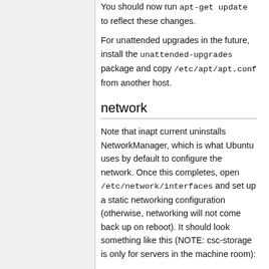You should now run apt-get update to reflect these changes.
For unattended upgrades in the future, install the unattended-upgrades package and copy /etc/apt/apt.conf from another host.
network
Note that inapt current uninstalls NetworkManager, which is what Ubuntu uses by default to configure the network. Once this completes, open /etc/network/interfaces and set up a static networking configuration (otherwise, networking will not come back up on reboot). It should look something like this (NOTE: csc-storage is only for servers in the machine room):